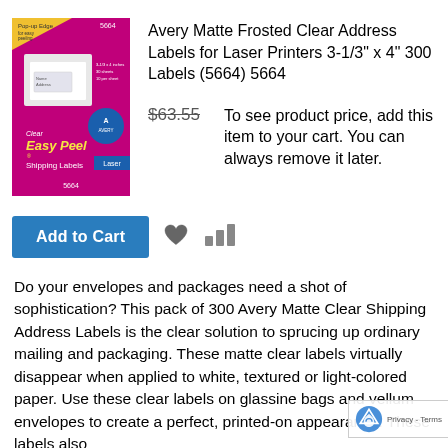[Figure (photo): Avery 5664 product box showing matte frosted clear address labels packaging - magenta/pink box with white label sample and Easy Peel branding]
Avery Matte Frosted Clear Address Labels for Laser Printers 3-1/3" x 4" 300 Labels (5664) 5664
$63.55    To see product price, add this item to your cart. You can always remove it later.
Add to Cart
Do your envelopes and packages need a shot of sophistication? This pack of 300 Avery Matte Clear Shipping Address Labels is the clear solution to sprucing up ordinary mailing and packaging. These matte clear labels virtually disappear when applied to white, textured or light-colored paper. Use these clear labels on glassine bags and vellum envelopes to create a perfect, printed-on appearance. These labels also